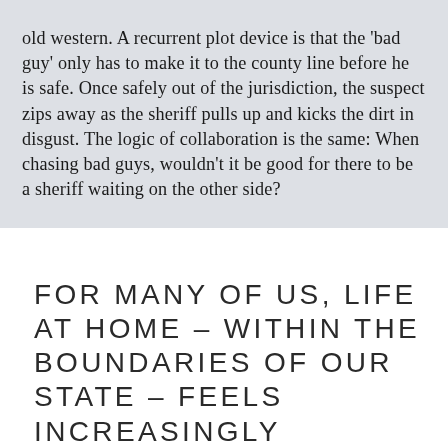old western. A recurrent plot device is that the 'bad guy' only has to make it to the county line before he is safe. Once safely out of the jurisdiction, the suspect zips away as the sheriff pulls up and kicks the dirt in disgust. The logic of collaboration is the same: When chasing bad guys, wouldn't it be good for there to be a sheriff waiting on the other side?
FOR MANY OF US, LIFE AT HOME – WITHIN THE BOUNDARIES OF OUR STATE – FEELS INCREASINGLY CONSTRAINED, AS THOUGH